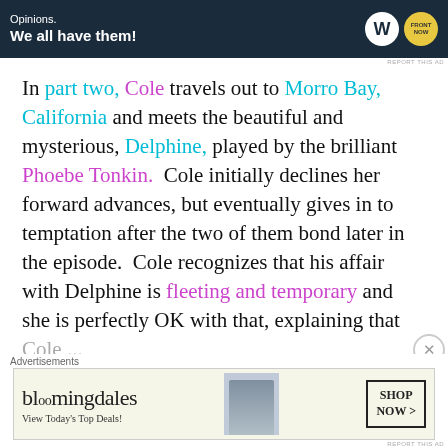[Figure (infographic): Dark navy advertisement banner with text 'Opinions. We all have them!' and WordPress/FrontNow logos on the right]
In part two, Cole travels out to Morro Bay, California and meets the beautiful and mysterious, Delphine, played by the brilliant Phoebe Tonkin. Cole initially declines her forward advances, but eventually gives in to temptation after the two of them bond later in the episode. Cole recognizes that his affair with Delphine is fleeting and temporary and she is perfectly OK with that, explaining that Cole...
[Figure (infographic): Bloomingdales advertisement: 'View Today's Top Deals! SHOP NOW >' with model in wide-brim hat]